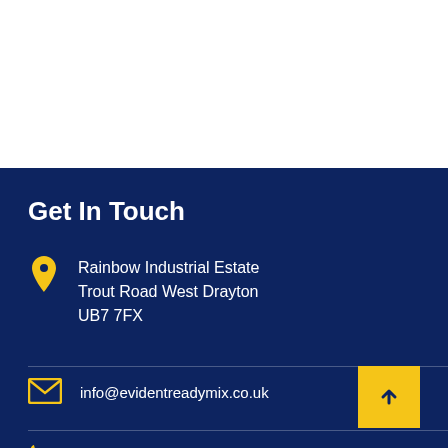Get In Touch
Rainbow Industrial Estate Trout Road West Drayton UB7 7FX
info@evidentreadymix.co.uk
Phone: +44 78983 43579